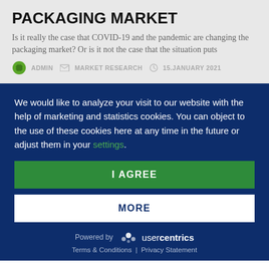PACKAGING MARKET
Is it really the case that COVID-19 and the pandemic are changing the packaging market? Or is it not the case that the situation puts
ADMIN   MARKET RESEARCH   15.JANUARY 2021
We would like to analyze your visit to our website with the help of marketing and statistics cookies. You can object to the use of these cookies here at any time in the future or adjust them in your settings.
I AGREE
MORE
Powered by usercentrics
Terms & Conditions | Privacy Statement